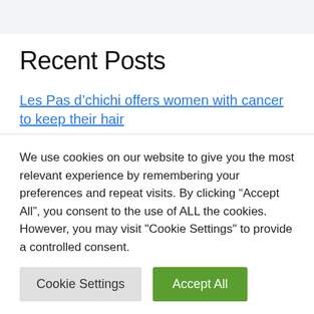Recent Posts
Les Pas d’chichi offers women with cancer to keep their hair
Ukraine: Solidar, on the front line, only wants
We use cookies on our website to give you the most relevant experience by remembering your preferences and repeat visits. By clicking “Accept All”, you consent to the use of ALL the cookies. However, you may visit "Cookie Settings" to provide a controlled consent.